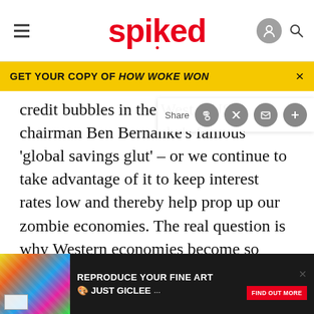spiked
GET YOUR COPY OF HOW WOKE WON
credit bubbles in the West – US chairman Ben Bernanke's famous 'global savings glut' – or we continue to take advantage of it to keep interest rates low and thereby help prop up our zombie economies. The real question is why Western economies become so dependent on all this easy money.
Instead of playing this blame game, or grasping at
Asian
ABOUT
[Figure (screenshot): Bottom advertisement banner for 'REPRODUCE YOUR FINE ART - JUST GICLEE' with colorful image on left and red find out more button]